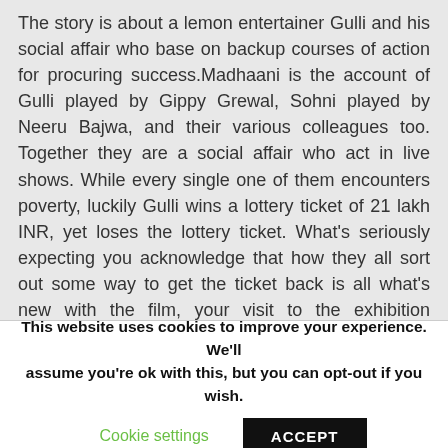The story is about a lemon entertainer Gulli and his social affair who base on backup courses of action for procuring success.Madhaani is the account of Gulli played by Gippy Grewal, Sohni played by Neeru Bajwa, and their various colleagues too. Together they are a social affair who act in live shows. While every single one of them encounters poverty, luckily Gulli wins a lottery ticket of 21 lakh INR, yet loses the lottery ticket. What's seriously expecting you acknowledge that how they all sort out some way to get the ticket back is all what's new with the film, your visit to the exhibition habitats will ruin you. There is significantly more that the film
This website uses cookies to improve your experience. We'll assume you're ok with this, but you can opt-out if you wish.
Cookie settings
ACCEPT